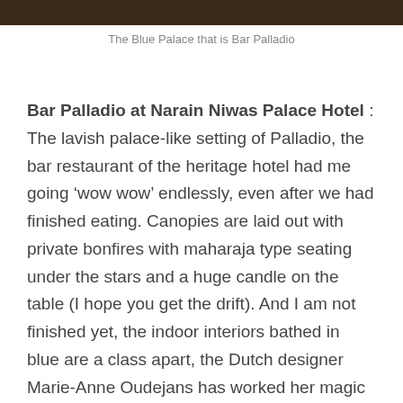[Figure (photo): Dark photo strip at top of page showing Bar Palladio interior]
The Blue Palace that is Bar Palladio
Bar Palladio at Narain Niwas Palace Hotel : The lavish palace-like setting of Palladio, the bar restaurant of the heritage hotel had me going ‘wow wow’ endlessly, even after we had finished eating. Canopies are laid out with private bonfires with maharaja type seating under the stars and a huge candle on the table (I hope you get the drift). And I am not finished yet, the indoor interiors bathed in blue are a class apart, the Dutch designer Marie-Anne Oudejans has worked her magic to create this scarcely believable wonderland that was apparently the brainchild of Swiss-Italian owner Barbara Miolini. The Bar Palladio is an opulent fantasy, only that it is real with an emphasis on authentic Italian food.